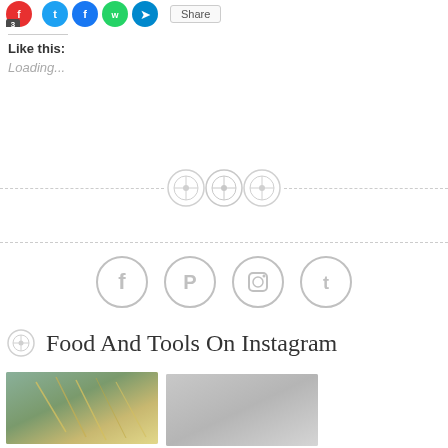[Figure (screenshot): Social media share buttons row at top with red Facebook button showing number 3, blue Twitter, blue Facebook, green WhatsApp, blue Telegram icons, and a share button]
Like this:
Loading...
[Figure (other): Decorative divider with dashed line and three button/sewing icons in the center]
[Figure (other): Dashed horizontal divider line]
[Figure (other): Four gray circular social media icons: Facebook, Pinterest, Instagram, Twitter]
Food And Tools On Instagram
[Figure (photo): Two Instagram photo thumbnails - first shows food/grain with gold tones on blue background, second shows a gray/silver image]